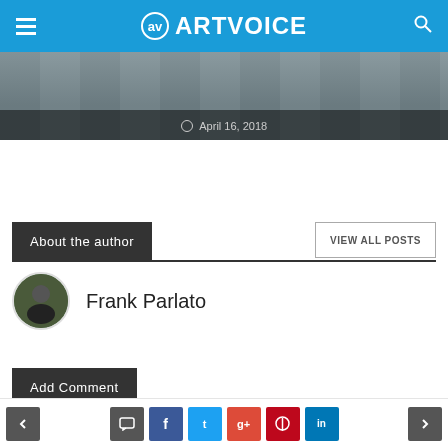ARTVOICE
[Figure (photo): Partial hero image of a restaurant/cafe interior with chairs and tables, dark overlay showing date April 16, 2018]
About the author
VIEW ALL POSTS
Frank Parlato
Add Comment
Navigation and social share buttons: back, comment, Facebook, Twitter, Google+, Pinterest, LinkedIn, forward